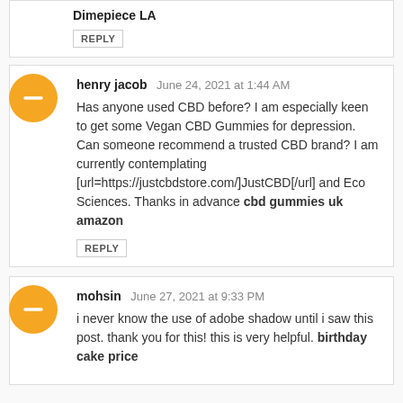Dimepiece LA
REPLY
henry jacob  June 24, 2021 at 1:44 AM
Has anyone used CBD before? I am especially keen to get some Vegan CBD Gummies for depression. Can someone recommend a trusted CBD brand? I am currently contemplating [url=https://justcbdstore.com/]JustCBD[/url] and Eco Sciences. Thanks in advance cbd gummies uk amazon
REPLY
mohsin  June 27, 2021 at 9:33 PM
i never know the use of adobe shadow until i saw this post. thank you for this! this is very helpful. birthday cake price